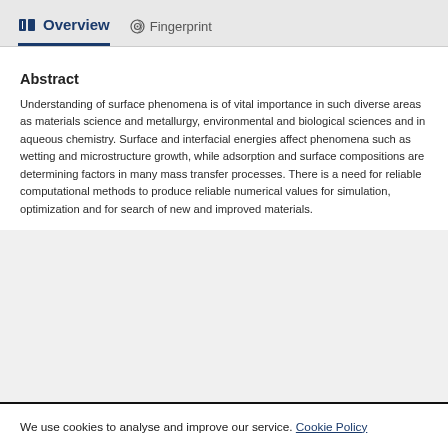Overview    Fingerprint
Abstract
Understanding of surface phenomena is of vital importance in such diverse areas as materials science and metallurgy, environmental and biological sciences and in aqueous chemistry. Surface and interfacial energies affect phenomena such as wetting and microstructure growth, while adsorption and surface compositions are determining factors in many mass transfer processes. There is a need for reliable computational methods to produce reliable numerical values for simulation, optimization and for search of new and improved materials.
We use cookies to analyse and improve our service. Cookie Policy